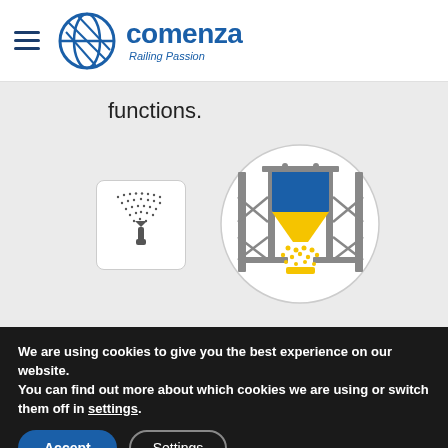[Figure (logo): Comenza logo with blue circle/globe icon and text 'comenza' with tagline 'Railing Passion']
functions.
[Figure (schematic): Small spray nozzle icon in white rounded-corner box — black dots fanning out from nozzle tip]
[Figure (engineering-diagram): Circular diagram showing a yellow spray/dispensing device mounted on a blue structural frame with yellow particles spraying downward]
We are using cookies to give you the best experience on our website.
You can find out more about which cookies we are using or switch them off in settings.
Accept
Settings